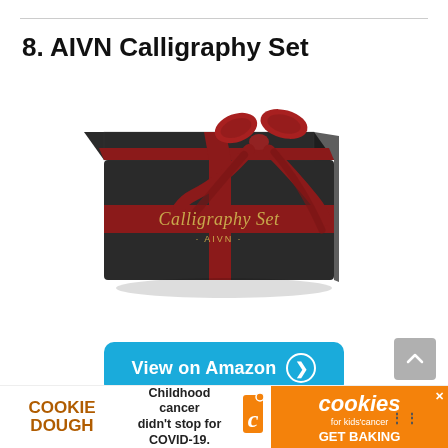8. AIVN Calligraphy Set
[Figure (photo): A black gift box labeled 'Calligraphy Set - AIVN -' in gold cursive script, decorated with a dark red satin ribbon and bow.]
View on Amazon
One of the top-tier calligraphy dip pens I've tried is this 17-piece set from AIVN. Not only does it feature a classic and sophisticated presentation, but it is also loaded with th…
[Figure (other): Cookie Dough / Childhood cancer didn't stop for COVID-19. / cookies for kids' cancer GET BAKING advertisement banner]